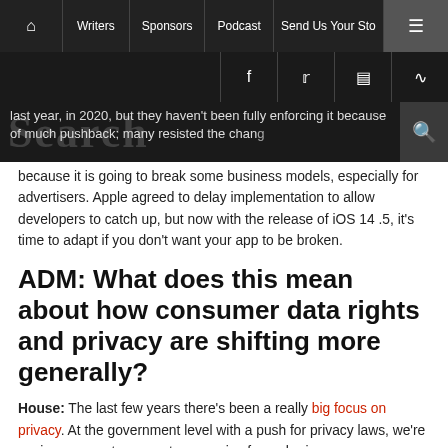🏠 | Writers | Sponsors | Podcast | Send Us Your Sto... | ☰
f  𝕏  📷  RSS
last year, in 2020, but they haven't been fully enforcing it because of much pushback; many resisted the change because it is going to break some business models, especially for advertisers. Apple agreed to delay implementation to allow developers to catch up, but now with the release of iOS 14.5, it's time to adapt if you don't want your app to be broken.
ADM: What does this mean about how consumer data rights and privacy are shifting more generally?
House: The last few years there's been a really big focus on privacy. At the government level with a push for privacy laws, we're seeing a move to prevent companies from sharing